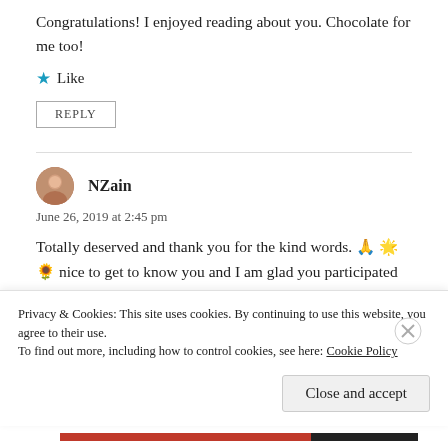Congratulations! I enjoyed reading about you. Chocolate for me too!
★ Like
REPLY
NZain
June 26, 2019 at 2:45 pm
Totally deserved and thank you for the kind words. 🙏🌟🌻 nice to get to know you and I am glad you participated—also nice to connect with your friends too!
Privacy & Cookies: This site uses cookies. By continuing to use this website, you agree to their use.
To find out more, including how to control cookies, see here: Cookie Policy
Close and accept